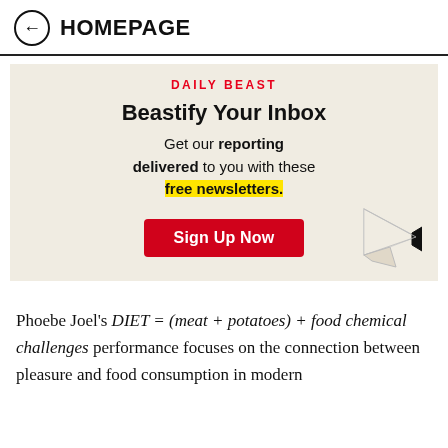← HOMEPAGE
[Figure (infographic): Daily Beast newsletter signup advertisement banner with cream/beige background. Shows 'DAILY BEAST' in red, 'Beastify Your Inbox' headline, text 'Get our reporting delivered to you with these free newsletters.' with 'free newsletters.' highlighted in yellow, a red 'Sign Up Now' button, and a paper airplane/megaphone illustration.]
Phoebe Joel's DIET = (meat + potatoes) + food chemical challenges performance focuses on the connection between pleasure and food consumption in modern